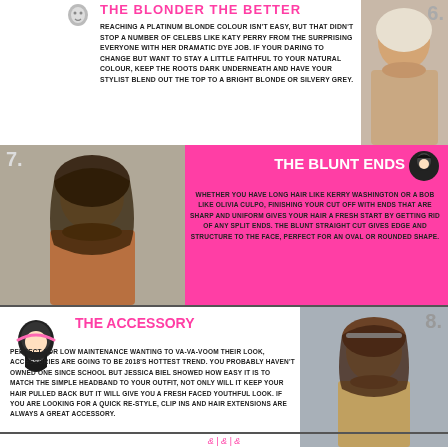THE BLONDER THE BETTER
REACHING A PLATINUM BLONDE COLOUR ISN'T EASY, BUT THAT DIDN'T STOP A NUMBER OF CELEBS LIKE KATY PERRY FROM THE SURPRISING EVERYONE WITH HER DRAMATIC DYE JOB. IF YOUR DARING TO CHANGE BUT WANT TO STAY A LITTLE FAITHFUL TO YOUR NATURAL COLOUR, KEEP THE ROOTS DARK UNDERNEATH AND HAVE YOUR STYLIST BLEND OUT THE TOP TO A BRIGHT BLONDE OR SILVERY GREY.
[Figure (photo): Celebrity with platinum silver-grey hair, section 6]
[Figure (photo): Number 7, woman with dark brown bob haircut, Olivia Culpo style]
THE BLUNT ENDS
WHETHER YOU HAVE LONG HAIR LIKE KERRY WASHINGTON OR A BOB LIKE OLIVIA CULPO, FINISHING YOUR CUT OFF WITH ENDS THAT ARE SHARP AND UNIFORM GIVES YOUR HAIR A FRESH START BY GETTING RID OF ANY SPLIT ENDS. THE BLUNT STRAIGHT CUT GIVES EDGE AND STRUCTURE TO THE FACE, PERFECT FOR AN OVAL OR ROUNDED SHAPE.
THE ACCESSORY
PERFECT FOR LOW MAINTENANCE WANTING TO VA-VA-VOOM THEIR LOOK, ACCESSORIES ARE GOING TO BE 2018'S HOTTEST TREND. YOU PROBABLY HAVEN'T OWNED ONE SINCE SCHOOL BUT JESSICA BIEL SHOWED HOW EASY IT IS TO MATCH THE SIMPLE HEADBAND TO YOUR OUTFIT, NOT ONLY WILL IT KEEP YOUR HAIR PULLED BACK BUT IT WILL GIVE YOU A FRESH FACED YOUTHFUL LOOK. IF YOU ARE LOOKING FOR A QUICK RE-STYLE, CLIP INS AND HAIR EXTENSIONS ARE ALWAYS A GREAT ACCESSORY.
[Figure (photo): Number 8, woman with headband accessory, Jessica Biel style]